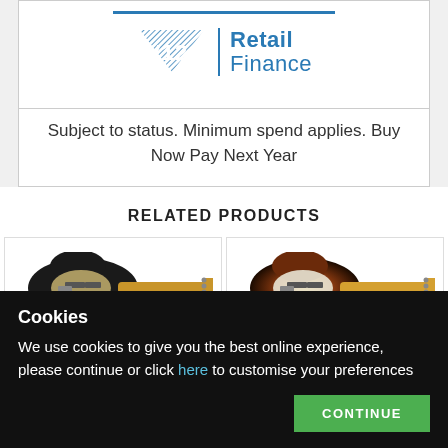[Figure (logo): V12 Retail Finance logo with blue triangle/chevron V12 mark and 'Retail Finance' text in blue]
Subject to status. Minimum spend applies. Buy Now Pay Next Year
RELATED PRODUCTS
[Figure (photo): Black Fender Stratocaster electric guitar with maple neck, viewed from above at slight angle]
[Figure (photo): Sunburst Fender Stratocaster electric guitar with maple neck, viewed from above at slight angle]
Cookies
We use cookies to give you the best online experience, please continue or click here to customise your preferences